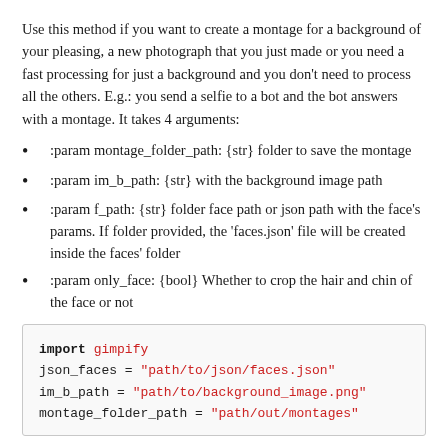Use this method if you want to create a montage for a background of your pleasing, a new photograph that you just made or you need a fast processing for just a background and you don't need to process all the others. E.g.: you send a selfie to a bot and the bot answers with a montage. It takes 4 arguments:
:param montage_folder_path: {str} folder to save the montage
:param im_b_path: {str} with the background image path
:param f_path: {str} folder face path or json path with the face's params. If folder provided, the 'faces.json' file will be created inside the faces' folder
:param only_face: {bool} Whether to crop the hair and chin of the face or not
[Figure (screenshot): Code block showing Python import and variable assignments: import gimpify, json_faces = "path/to/json/faces.json", im_b_path = "path/to/background_image.png", montage_folder_path = "path/out/montages"]